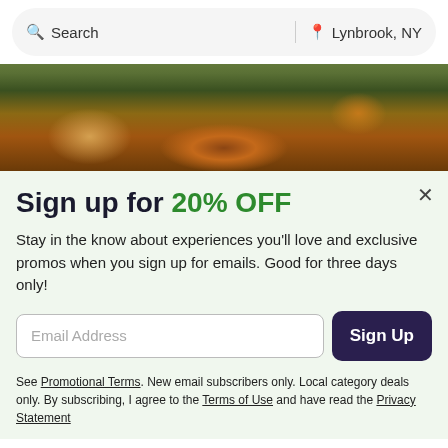Search | Lynbrook, NY
[Figure (photo): Close-up photo of food on restaurant table: fried chicken wings in foreground, tacos or sandwiches and a metal cup in background]
Sign up for 20% OFF
Stay in the know about experiences you'll love and exclusive promos when you sign up for emails. Good for three days only!
Email Address [input field] Sign Up [button]
See Promotional Terms. New email subscribers only. Local category deals only. By subscribing, I agree to the Terms of Use and have read the Privacy Statement